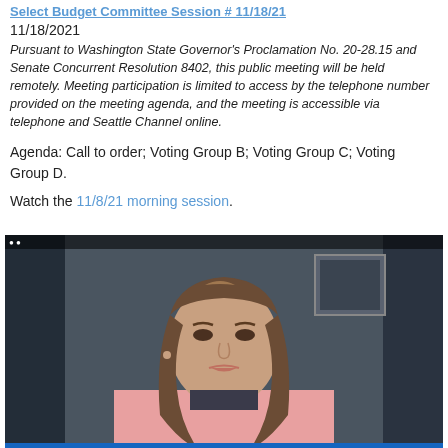Select Budget Committee Session # 11/18/21
11/18/2021
Pursuant to Washington State Governor's Proclamation No. 20-28.15 and Senate Concurrent Resolution 8402, this public meeting will be held remotely. Meeting participation is limited to access by the telephone number provided on the meeting agenda, and the meeting is accessible via telephone and Seattle Channel online.
Agenda: Call to order; Voting Group B; Voting Group C; Voting Group D.
Watch the 11/8/21 morning session.
[Figure (photo): Video screenshot of a woman with long brown hair wearing a pink blazer, appearing to speak during a remote meeting via video conference. Dark background with a framed picture visible on the wall behind her. A blue bar appears at the bottom of the video frame.]